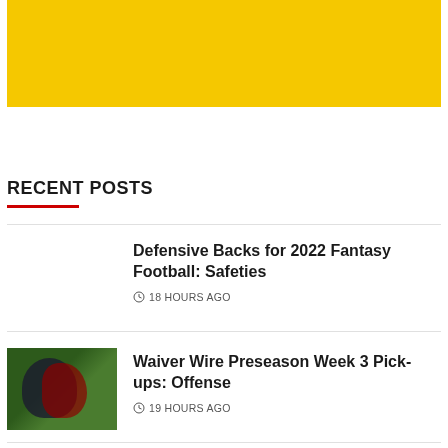[Figure (illustration): Yellow/gold solid color banner rectangle at top of page]
RECENT POSTS
Defensive Backs for 2022 Fantasy Football: Safeties — 18 HOURS AGO
Waiver Wire Preseason Week 3 Pick-ups: Offense — 19 HOURS AGO